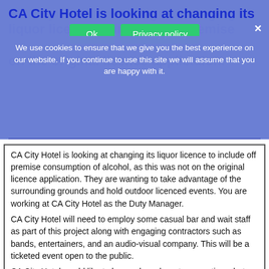CA City Hotel is looking at changing its liquor licence to include off premise consumption of alcohol, as this was not on the original licence application.
We use cookies to ensure that we give you the best experience on our website. If you continue to use this site we will assume that you are happy with it.
CA City Hotel is looking at changing its liquor licence to include off premise consumption of alcohol, as this was not on the original licence application. They are wanting to take advantage of the surrounding grounds and hold outdoor licenced events. You are working at CA City Hotel as the Duty Manager.
CA City Hotel will need to employ some casual bar and wait staff as part of this project along with engaging contractors such as bands, entertainers, and an audio-visual company. This will be a ticketed event open to the public.
CA City Hotel would like to have a launch party promoting what they can offer in this area. The launch party will include:
Licenced drinking areas
Stage with bands and entertainers
Food stalls
Fireworks
Mini casino with blackjack tables and roulette wheels.
The launch will take place on a Friday evening from 6:00pm until